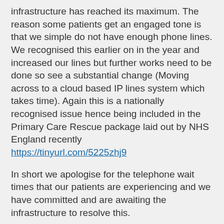infrastructure has reached its maximum. The reason some patients get an engaged tone is that we simple do not have enough phone lines. We recognised this earlier on in the year and increased our lines but further works need to be done so see a substantial change (Moving across to a cloud based IP lines system which takes time). Again this is a nationally recognised issue hence being included in the Primary Care Rescue package laid out by NHS England recently https://tinyurl.com/5225zhj9
In short we apologise for the telephone wait times that our patients are experiencing and we have committed and are awaiting the infrastructure to resolve this.
FYI our peak call times are 08:00 – 10:00 and 12:00 – 14:00 daily. If your call is not urgent then we encourage contact outside of these times or via our online eConsult service.